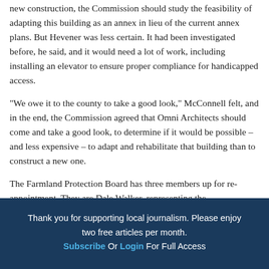new construction, the Commission should study the feasibility of adapting this building as an annex in lieu of the current annex plans. But Hevener was less certain. It had been investigated before, he said, and it would need a lot of work, including installing an elevator to ensure proper compliance for handicapped access.
“We owe it to the county to take a good look,” McConnell felt, and in the end, the Commission agreed that Omni Architects should come and take a good look, to determine if it would be possible – and less expensive – to adapt and rehabilitate that building than to construct a new one.
The Farmland Protection Board has three members up for re-appointment. They are Dale Walker, representing the
Thank you for supporting local journalism. Please enjoy two free articles per month. Subscribe Or Login For Full Access